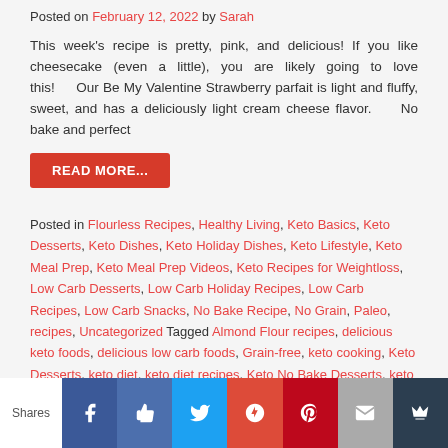Posted on February 12, 2022 by Sarah
This week's recipe is pretty, pink, and delicious! If you like cheesecake (even a little), you are likely going to love this!     Our Be My Valentine Strawberry parfait is light and fluffy, sweet, and has a deliciously light cream cheese flavor.     No bake and perfect
READ MORE...
Posted in Flourless Recipes, Healthy Living, Keto Basics, Keto Desserts, Keto Dishes, Keto Holiday Dishes, Keto Lifestyle, Keto Meal Prep, Keto Meal Prep Videos, Keto Recipes for Weightloss, Low Carb Desserts, Low Carb Holiday Recipes, Low Carb Recipes, Low Carb Snacks, No Bake Recipe, No Grain, Paleo, recipes, Uncategorized Tagged Almond Flour recipes, delicious keto foods, delicious low carb foods, Grain-free, keto cooking, Keto Desserts, keto diet, keto diet recipes, Keto No Bake Desserts, keto snacks, Low car desserts, low carb holiday
Shares | Facebook | Like | Twitter | Google+ | Pinterest | Mail | Crown